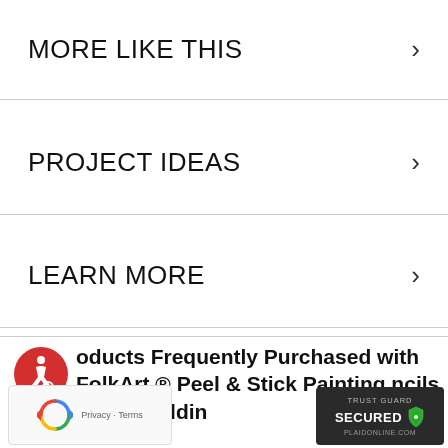MORE LIKE THIS
PROJECT IDEAS
LEARN MORE
Products Frequently Purchased with FolkArt ® Peel & Stick Painting Stencils - Our Wedding
[Figure (logo): Accessibility icon - red circle with white wheelchair user symbol]
[Figure (logo): Google reCAPTCHA badge with rotating arrows logo and Privacy - Terms text]
[Figure (logo): Trust Guard Secured badge - dark background with shield icon and PLAIDONLINE.COM text]